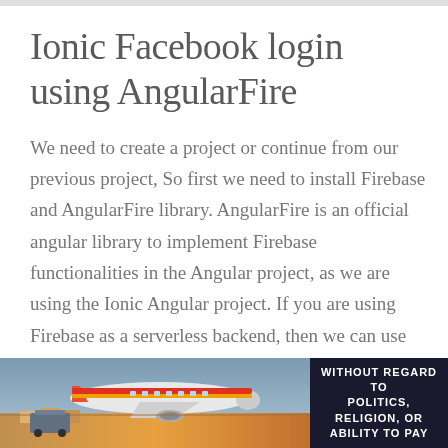Ionic Facebook login using AngularFire
We need to create a project or continue from our previous project, So first we need to install Firebase and AngularFire library. AngularFire is an official angular library to implement Firebase functionalities in the Angular project, as we are using the Ionic Angular project. If you are using Firebase as a serverless backend, then we can use the
[Figure (photo): Advertisement banner showing an airplane being loaded with cargo, with a dark sidebar reading WITHOUT REGARD TO POLITICS, RELIGION, OR ABILITY TO PAY]